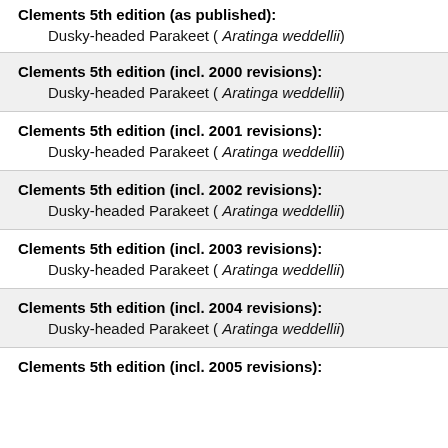Clements 5th edition (as published):
Dusky-headed Parakeet ( Aratinga weddellii)
Clements 5th edition (incl. 2000 revisions):
Dusky-headed Parakeet ( Aratinga weddellii)
Clements 5th edition (incl. 2001 revisions):
Dusky-headed Parakeet ( Aratinga weddellii)
Clements 5th edition (incl. 2002 revisions):
Dusky-headed Parakeet ( Aratinga weddellii)
Clements 5th edition (incl. 2003 revisions):
Dusky-headed Parakeet ( Aratinga weddellii)
Clements 5th edition (incl. 2004 revisions):
Dusky-headed Parakeet ( Aratinga weddellii)
Clements 5th edition (incl. 2005 revisions):